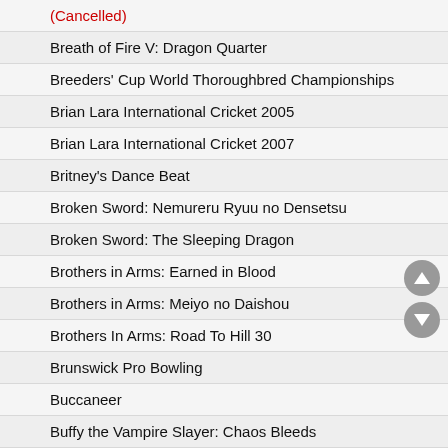(Cancelled)
Breath of Fire V: Dragon Quarter
Breeders' Cup World Thoroughbred Championships
Brian Lara International Cricket 2005
Brian Lara International Cricket 2007
Britney's Dance Beat
Broken Sword: Nemureru Ryuu no Densetsu
Broken Sword: The Sleeping Dragon
Brothers in Arms: Earned in Blood
Brothers in Arms: Meiyo no Daishou
Brothers In Arms: Road To Hill 30
Brunswick Pro Bowling
Buccaneer
Buffy the Vampire Slayer: Chaos Bleeds
Buggy Grand Prix: Kattobi! Dai-Sakusen
Buile Baku
Bujingai: Swordmaster
Bujingai: The Forsaken City
Bulletproof Monk (Cancelled)
Bully
Burnout
Burnout 2: Point of Impact
Burnout 3: Takedown
Burnout Dominator
Burnout Revenge
Bushido, The